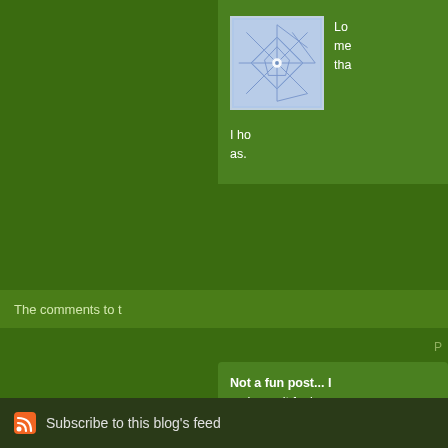[Figure (illustration): Decorative snowflake/star geometric pattern avatar thumbnail in blue and white]
Lo... me... tha...
I ho... as.
The comments to t
P
Not a fun post... I on here...it feels we news. I had been h
Subscribe to this blog's feed